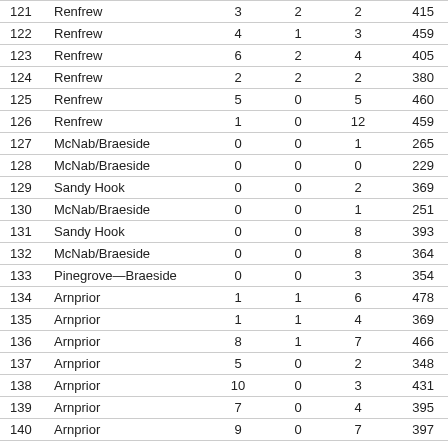|  |  |  |  |  |  |
| --- | --- | --- | --- | --- | --- |
| 121 | Renfrew | 3 | 2 | 2 | 415 |
| 122 | Renfrew | 4 | 1 | 3 | 459 |
| 123 | Renfrew | 6 | 2 | 4 | 405 |
| 124 | Renfrew | 2 | 2 | 2 | 380 |
| 125 | Renfrew | 5 | 0 | 5 | 460 |
| 126 | Renfrew | 1 | 0 | 12 | 459 |
| 127 | McNab/Braeside | 0 | 0 | 1 | 265 |
| 128 | McNab/Braeside | 0 | 0 | 0 | 229 |
| 129 | Sandy Hook | 0 | 0 | 2 | 369 |
| 130 | McNab/Braeside | 0 | 0 | 1 | 251 |
| 131 | Sandy Hook | 0 | 0 | 8 | 393 |
| 132 | McNab/Braeside | 0 | 0 | 8 | 364 |
| 133 | Pinegrove—Braeside | 0 | 0 | 3 | 354 |
| 134 | Arnprior | 1 | 1 | 6 | 478 |
| 135 | Arnprior | 1 | 1 | 4 | 369 |
| 136 | Arnprior | 8 | 1 | 7 | 466 |
| 137 | Arnprior | 5 | 0 | 2 | 348 |
| 138 | Arnprior | 10 | 0 | 3 | 431 |
| 139 | Arnprior | 7 | 0 | 4 | 395 |
| 140 | Arnprior | 9 | 0 | 7 | 397 |